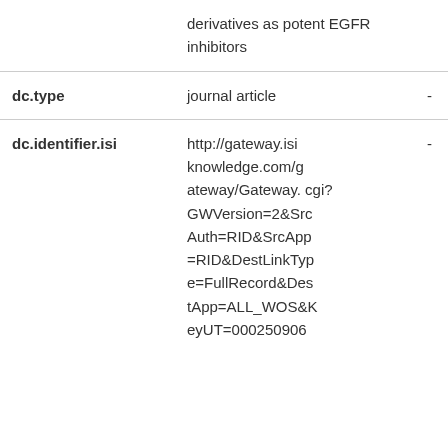| Field | Value |  |
| --- | --- | --- |
|  | derivatives as potent EGFR inhibitors |  |
| dc.type | journal article | - |
| dc.identifier.isi | http://gateway.isiknowledge.com/gateway/Gateway.cgi?GWVersion=2&SrcAuth=RID&SrcApp=RID&DestLinkType=FullRecord&DestApp=ALL_WOS&KeyUT=000250906 | - |